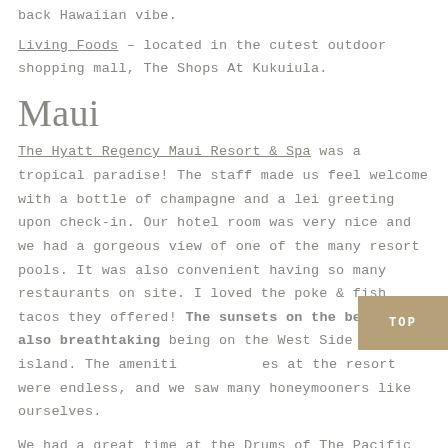back Hawaiian vibe.
Living Foods – located in the cutest outdoor shopping mall, The Shops At Kukuiula.
Maui
The Hyatt Regency Maui Resort & Spa was a tropical paradise! The staff made us feel welcome with a bottle of champagne and a lei greeting upon check-in. Our hotel room was very nice and we had a gorgeous view of one of the many resort pools. It was also convenient having so many restaurants on site. I loved the poke & fish tacos they offered! The sunsets on the beach were also breathtaking being on the West Side of the island. The amenities at the resort were endless, and we saw many honeymooners like ourselves.
We had a great time at the Drums of The Pacific Luau at